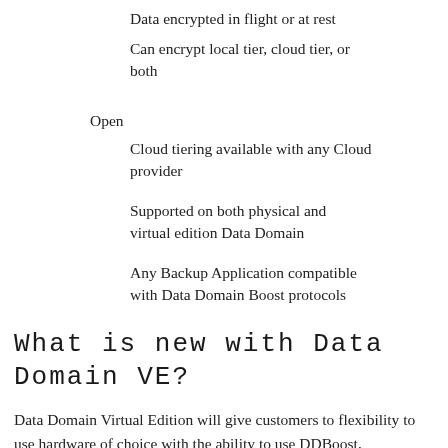Data encrypted in flight or at rest
Can encrypt local tier, cloud tier, or both
Open
Cloud tiering available with any Cloud provider
Supported on both physical and virtual edition Data Domain
Any Backup Application compatible with Data Domain Boost protocols
What is new with Data Domain VE?
Data Domain Virtual Edition will give customers to flexibility to use hardware of choice with the ability to use DDBoost, Encryption, and replication.  DD VE will also run DD OS version 6 which means customers will be able to utilize new Cloud Tier